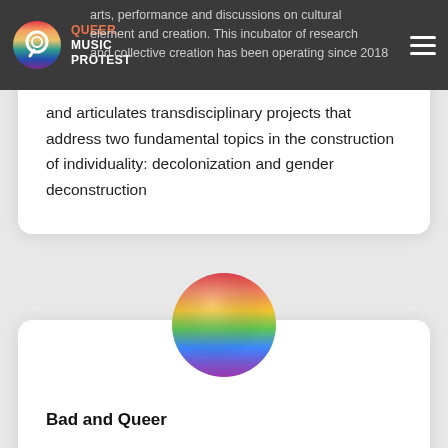Queer Music Protest
arts, performance and discussions on cultural element and creation. This incubator of research and collective creation has been operating since 2018 and articulates transdisciplinary projects that address two fundamental topics in the construction of individuality: decolonization and gender deconstruction
[Figure (illustration): Rainbow gradient sphere/ball logo centered between two cards]
Bad and Queer
Las Malas y La Chiki is an independent music and performance approach created in Bogota in 2019 on